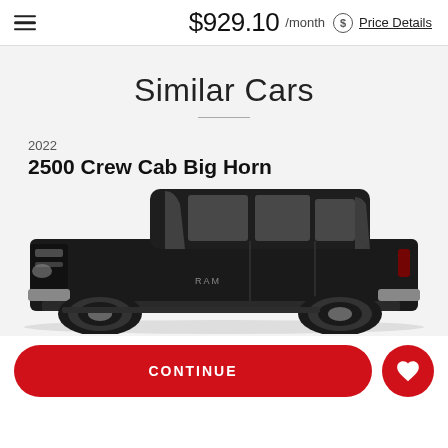$929.10 /month Price Details
Similar Cars
2022
2500 Crew Cab Big Horn
[Figure (photo): Side profile photo of a black 2022 Ram 2500 Crew Cab Big Horn pickup truck on a light gray background]